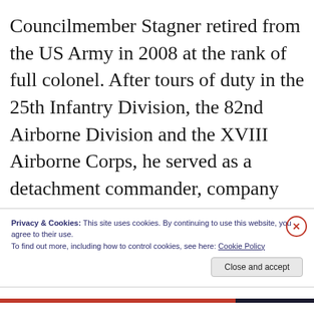Councilmember Stagner retired from the US Army in 2008 at the rank of full colonel. After tours of duty in the 25th Infantry Division, the 82nd Airborne Division and the XVIII Airborne Corps, he served as a detachment commander, company commander, battalion operations officer, and battalion commander
Privacy & Cookies: This site uses cookies. By continuing to use this website, you agree to their use.
To find out more, including how to control cookies, see here: Cookie Policy
Close and accept